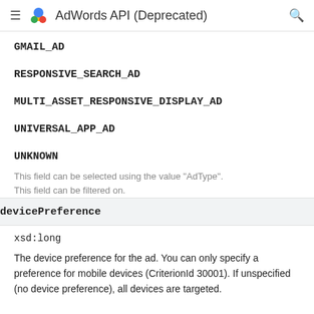AdWords API (Deprecated)
GMAIL_AD
RESPONSIVE_SEARCH_AD
MULTI_ASSET_RESPONSIVE_DISPLAY_AD
UNIVERSAL_APP_AD
UNKNOWN
This field can be selected using the value "AdType".
This field can be filtered on.
devicePreference
xsd:long
The device preference for the ad. You can only specify a preference for mobile devices (CriterionId 30001). If unspecified (no device preference), all devices are targeted.